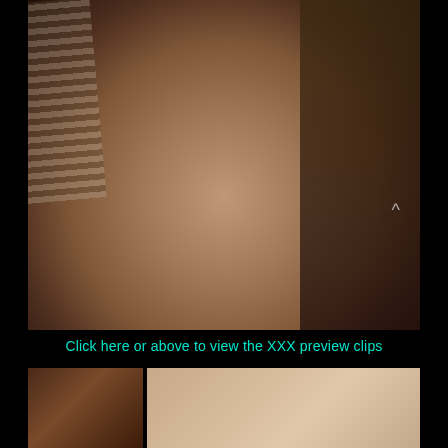[Figure (photo): Adult content photograph - muscular male torso, close-up, with striped fabric visible on left]
[Figure (logo): minuteman logo in white and blue, COLTstudiogroup.com website, with film title 'minute man 2' and actor name 'Ricardo Merlo' on right]
Click here or above to view the XXX preview clips
[Figure (photo): Two thumbnail photos at bottom - left showing dark close-up, right showing skin/body close-up]